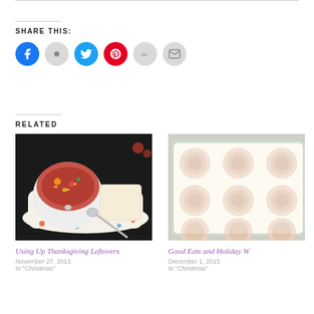SHARE THIS:
[Figure (infographic): Six social sharing icon buttons: Facebook (blue), Digg (grey), Twitter (cyan), Pinterest (red), StumbleUpon (grey), Email (grey)]
RELATED
[Figure (photo): Photo of a bowl of vegetable soup with pasta and a slice of white bread on a polka-dot tray with a spoon]
Using Up Thanksgiving Leftovers
November 27, 2013
In "Christmas"
[Figure (photo): Photo of a glass baking dish with frosted cinnamon rolls]
Good Eats and Holiday W
December 1, 2015
In "Christmas"